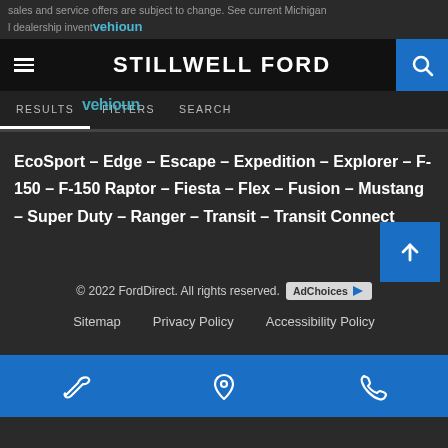sales and service offers are subject to change. See current Michigan dealership invent…
STILLWELL FORD
RESULTS   FILTERS   SEARCH
EcoSport – Edge – Escape – Expedition – Explorer – F-150 – F-150 Raptor – Fiesta – Flex – Fusion – Mustang – Super Duty – Ranger – Transit – Transit Connect
© 2022 FordDirect. All rights reserved.
Sitemap   Privacy Policy   Accessibility Policy
Service icon | Location icon | Phone icon